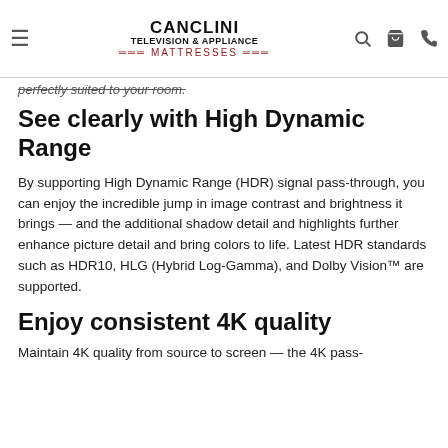CANCLINI TELEVISION & APPLIANCE MATTRESSES
perfectly suited to your room.
See clearly with High Dynamic Range
By supporting High Dynamic Range (HDR) signal pass-through, you can enjoy the incredible jump in image contrast and brightness it brings — and the additional shadow detail and highlights further enhance picture detail and bring colors to life. Latest HDR standards such as HDR10, HLG (Hybrid Log-Gamma), and Dolby Vision™ are supported.
Enjoy consistent 4K quality
Maintain 4K quality from source to screen — the 4K pass-